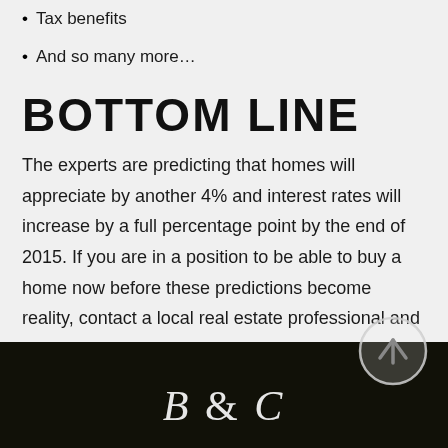Tax benefits
And so many more…
BOTTOM LINE
The experts are predicting that homes will appreciate by another 4% and interest rates will increase by a full percentage point by the end of 2015. If you are in a position to be able to buy a home now before these predictions become reality, contact a local real estate professional and start the process.
B & C